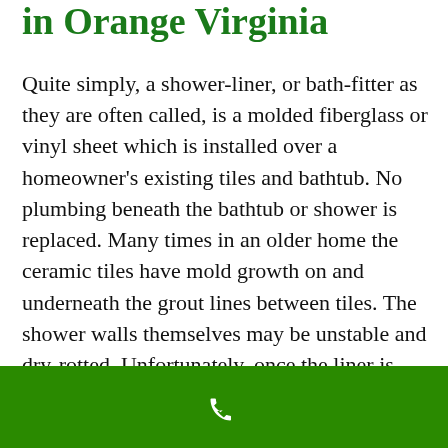in Orange Virginia
Quite simply, a shower-liner, or bath-fitter as they are often called, is a molded fiberglass or vinyl sheet which is installed over a homeowner's existing tiles and bathtub. No plumbing beneath the bathtub or shower is replaced. Many times in an older home the ceramic tiles have mold growth on and underneath the grout lines between tiles. The shower walls themselves may be unstable and dry-rotted. Unfortunately, once the liner is
[Figure (illustration): White phone handset icon on green background bar at bottom of page]